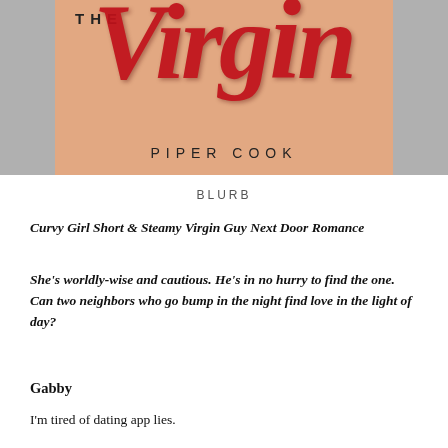[Figure (illustration): Book cover for 'The Virgin' by Piper Cook. Peach/tan background with large red glittery cursive script title and author name in spaced capital letters below.]
BLURB
Curvy Girl Short & Steamy Virgin Guy Next Door Romance
She’s worldly-wise and cautious. He’s in no hurry to find the one. Can two neighbors who go bump in the night find love in the light of day?
Gabby
I’m tired of dating app lies.